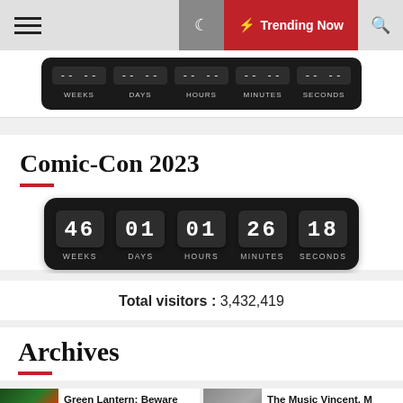[Figure (screenshot): Top navigation bar with hamburger menu icon, dark mode toggle, red Trending Now button with lightning bolt, and search icon]
[Figure (screenshot): Partial countdown timer widget showing WEEKS DAYS HOURS MINUTES SECONDS labels on dark background]
Comic-Con 2023
[Figure (screenshot): Countdown timer showing 46 WEEKS, 01 DAYS, 01 HOURS, 26 MINUTES, 18 SECONDS on dark flip-clock style display]
Total visitors : 3,432,419
Archives
Green Lantern: Beware My Power Comic-Con 2022 Round Table...
The Music Vincent, M